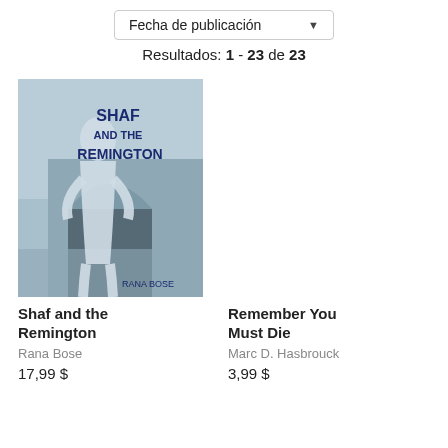Fecha de publicación
Resultados: 1 - 23 de 23
[Figure (illustration): Book cover for 'Shaf and the Remington' by Rana Bose. Blue/grey tones with a silhouette figure and arch background, bold dark blue text.]
Shaf and the Remington
Rana Bose
17,99 $
Remember You Must Die
Marc D. Hasbrouck
3,99 $